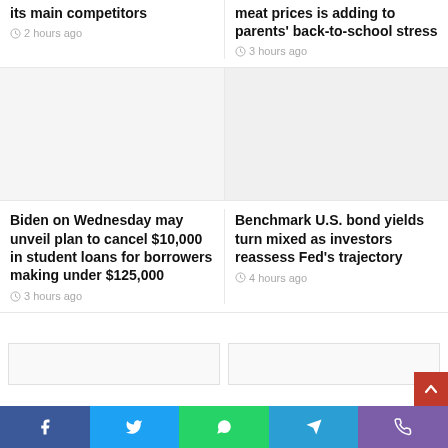its main competitors
2 hours ago
meat prices is adding to parents' back-to-school stress
3 hours ago
[Figure (photo): Empty image placeholder left]
[Figure (photo): Empty image placeholder right]
Biden on Wednesday may unveil plan to cancel $10,000 in student loans for borrowers making under $125,000
3 hours ago
Benchmark U.S. bond yields turn mixed as investors reassess Fed's trajectory
4 hours ago
[Figure (other): Bottom card left placeholder]
[Figure (other): Bottom card right placeholder]